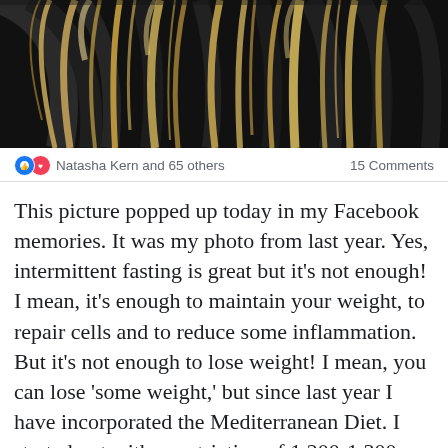[Figure (photo): Close-up photo of a person's hair, showing dark roots and blonde/highlighted ends against a dark background.]
Natasha Kern and 65 others   15 Comments
This picture popped up today in my Facebook memories. It was my photo from last year. Yes, intermittent fasting is great but it’s not enough! I mean, it’s enough to maintain your weight, to repair cells and to reduce some inflammation. But it’s not enough to lose weight! I mean, you can lose ‘some weight,’ but since last year I have incorporated the Mediterranean Diet. I started out with a restriction of 1,200-1,300 calories per day last